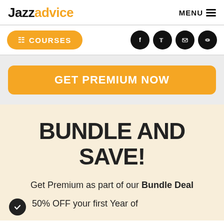Jazzadvice
MENU
COURSES
[Figure (screenshot): Social media icons: Facebook, Twitter, Email, Link]
GET PREMIUM NOW
BUNDLE AND SAVE!
Get Premium as part of our Bundle Deal
50% OFF your first Year of